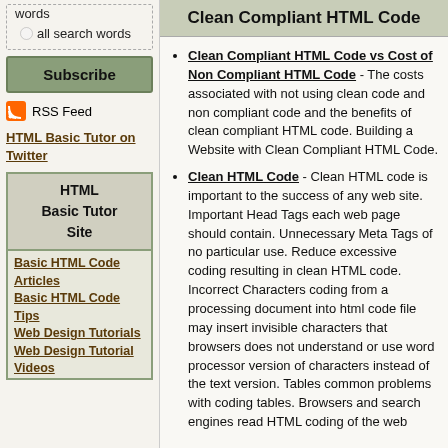words
all search words
Subscribe
RSS Feed
HTML Basic Tutor on Twitter
HTML Basic Tutor Site
Basic HTML Code Articles
Basic HTML Code Tips
Web Design Tutorials
Web Design Tutorial Videos
Clean Compliant HTML Code
Clean Compliant HTML Code vs Cost of Non Compliant HTML Code - The costs associated with not using clean code and non compliant code and the benefits of clean compliant HTML code. Building a Website with Clean Compliant HTML Code.
Clean HTML Code - Clean HTML code is important to the success of any web site. Important Head Tags each web page should contain. Unnecessary Meta Tags of no particular use. Reduce excessive coding resulting in clean HTML code. Incorrect Characters coding from a processing document into html code file may insert invisible characters that browsers does not understand or use word processor version of characters instead of the text version. Tables common problems with coding tables. Browsers and search engines read HTML coding of the web